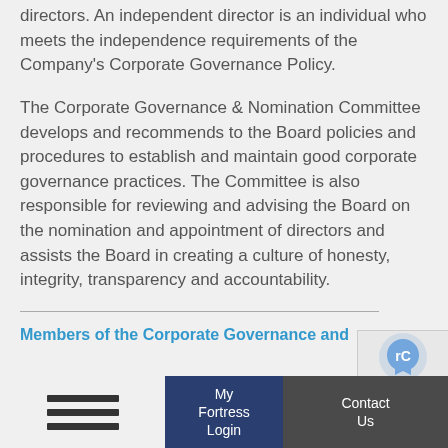directors. An independent director is an individual who meets the independence requirements of the Company's Corporate Governance Policy.
The Corporate Governance & Nomination Committee develops and recommends to the Board policies and procedures to establish and maintain good corporate governance practices. The Committee is also responsible for reviewing and advising the Board on the nomination and appointment of directors and assists the Board in creating a culture of honesty, integrity, transparency and accountability.
Members of the Corporate Governance and
My Fortress Login | Contact Us